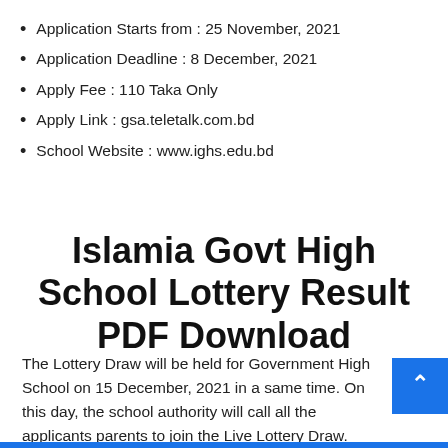Application Starts from : 25 November, 2021
Application Deadline : 8 December, 2021
Apply Fee : 110 Taka Only
Apply Link : gsa.teletalk.com.bd
School Website : www.ighs.edu.bd
Islamia Govt High School Lottery Result PDF Download
The Lottery Draw will be held for Government High School on 15 December, 2021 in a same time. On this day, the school authority will call all the applicants parents to join the Live Lottery Draw.